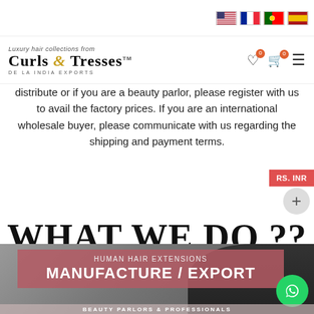Flag icons: US, France, Portugal, Spain
[Figure (logo): Curls & Tresses De La India Exports logo with luxury hair collections from tagline, TM mark, and navigation icons]
distribute or if you are a beauty parlor, please register with us to avail the factory prices. If you are an international wholesale buyer, please communicate with us regarding the shipping and payment terms.
WHAT WE DO ??
[Figure (photo): Background photo of woman's hair with pink banner overlay showing 'HUMAN HAIR EXTENSIONS MANUFACTURE / EXPORT' and partial 'BEAUTY PARLORS & PROFESSIONALS' text at bottom, WhatsApp button at bottom right]